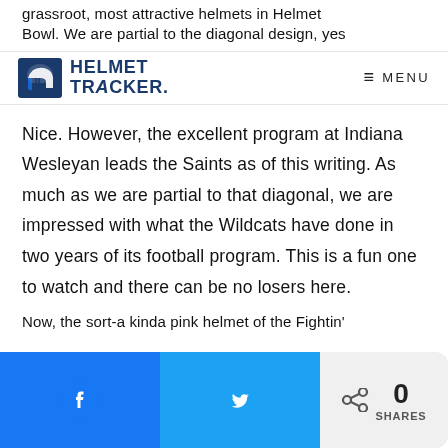grassroot, most attractive helmets in Helmet Bowl. We are partial to the diagonal design, yes
[Figure (logo): Helmet Tracker logo with helmet icon and text 'HELMET TRACKER']
≡ MENU
Nice. However, the excellent program at Indiana Wesleyan leads the Saints as of this writing. As much as we are partial to that diagonal, we are impressed with what the Wildcats have done in two years of its football program. This is a fun one to watch and there can be no losers here.
Now, the sort-a kinda pink helmet of the Fightin'
[Figure (infographic): Social sharing bar with Facebook button, Twitter button, and share count showing 0 SHARES]